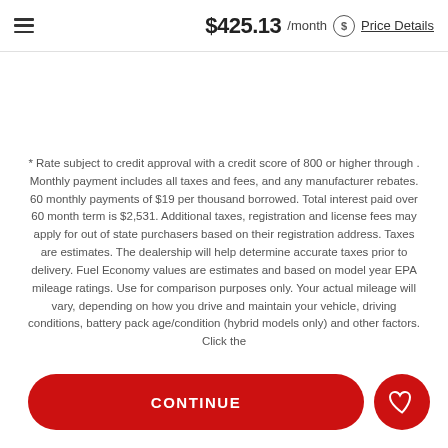≡  $425.13 /month  Price Details
* Rate subject to credit approval with a credit score of 800 or higher through . Monthly payment includes all taxes and fees, and any manufacturer rebates. 60 monthly payments of $19 per thousand borrowed. Total interest paid over 60 month term is $2,531. Additional taxes, registration and license fees may apply for out of state purchasers based on their registration address. Taxes are estimates. The dealership will help determine accurate taxes prior to delivery. Fuel Economy values are estimates and based on model year EPA mileage ratings. Use for comparison purposes only. Your actual mileage will vary, depending on how you drive and maintain your vehicle, driving conditions, battery pack age/condition (hybrid models only) and other factors. Click the